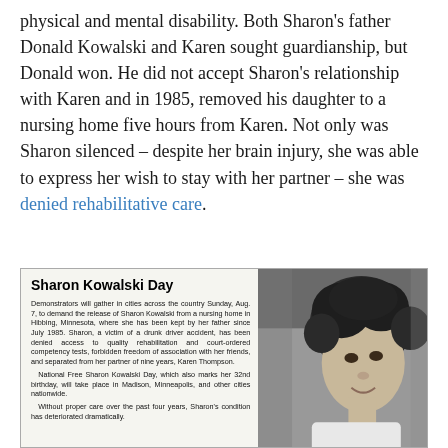physical and mental disability. Both Sharon's father Donald Kowalski and Karen sought guardianship, but Donald won. He did not accept Sharon's relationship with Karen and in 1985, removed his daughter to a nursing home five hours from Karen. Not only was Sharon silenced – despite her brain injury, she was able to express her wish to stay with her partner – she was denied rehabilitative care.
[Figure (photo): Newspaper clipping headlined 'Sharon Kowalski Day' with text about demonstrators gathering to demand release of Sharon Kowalski from a nursing home in Hibbing, Minnesota, alongside a black-and-white photograph of a young woman with curly dark hair.]